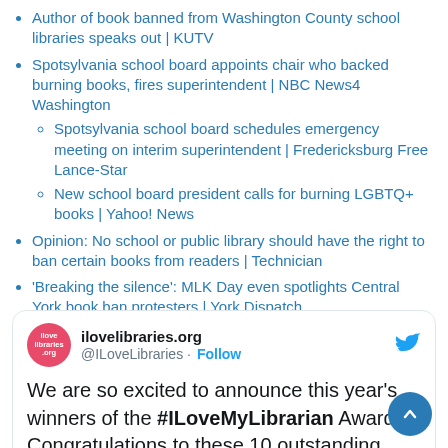Author of book banned from Washington County school libraries speaks out | KUTV
Spotsylvania school board appoints chair who backed burning books, fires superintendent | NBC News4 Washington
Spotsylvania school board schedules emergency meeting on interim superintendent | Fredericksburg Free Lance-Star
New school board president calls for burning LGBTQ+ books | Yahoo! News
Opinion: No school or public library should have the right to ban certain books from readers | Technician
'Breaking the silence': MLK Day even spotlights Central York book ban protesters | York Dispatch
Christopher Paul Curtis: “Keep Fighting” – The Newbery at 100 | School Library Journal
[Figure (screenshot): Twitter/X card for ilovelibraries.org (@ILoveLibraries) with Follow button and tweet text: 'We are so excited to announce this year’s winners of the #ILoveMyLibrarian Award! Congratulations to these 10 outstanding']